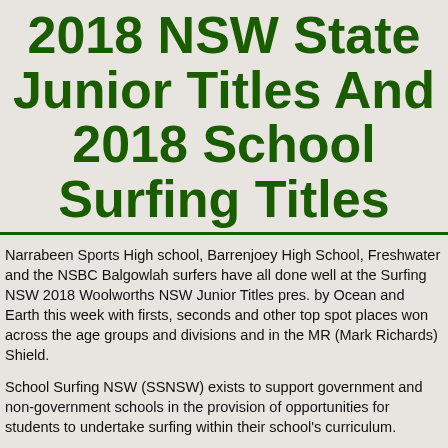2018 NSW State Junior Titles And 2018 School Surfing Titles
Narrabeen Sports High school, Barrenjoey High School, Freshwater and the NSBC Balgowlah surfers have all done well at the Surfing NSW 2018 Woolworths NSW Junior Titles pres. by Ocean and Earth this week with firsts, seconds and other top spot places won across the age groups and divisions and in the MR (Mark Richards) Shield.
School Surfing NSW (SSNSW) exists to support government and non-government schools in the provision of opportunities for students to undertake surfing within their school's curriculum.
Being part of an extensive coastal community with so many great surfers, it should come as no surprise that most of our local schools have surfing and surfing competitions among their options for students.  Before the Winter